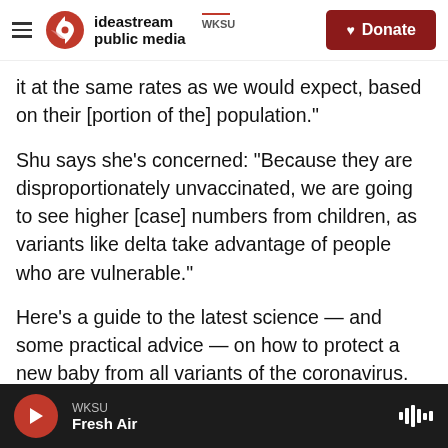ideastream public media | WKSU | Donate
it at the same rates as we would expect, based on their [portion of the] population."
Shu says she's concerned: "Because they are disproportionately unvaccinated, we are going to see higher [case] numbers from children, as variants like delta take advantage of people who are vulnerable."
Here's a guide to the latest science — and some practical advice — on how to protect a new baby from all variants of the coronavirus.
1  How to pass along some coronavirus
WKSU | Fresh Air